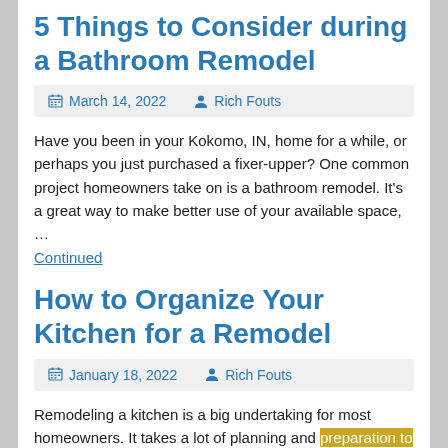5 Things to Consider during a Bathroom Remodel
March 14, 2022   Rich Fouts
Have you been in your Kokomo, IN, home for a while, or perhaps you just purchased a fixer-upper? One common project homeowners take on is a bathroom remodel. It's a great way to make better use of your available space, …
Continued
How to Organize Your Kitchen for a Remodel
January 18, 2022   Rich Fouts
Remodeling a kitchen is a big undertaking for most homeowners. It takes a lot of planning and preparation to get the job done right. And while your contractors will take care of the heavy lifting, there are a few things … Continued